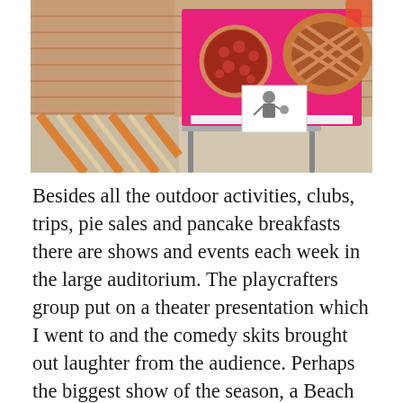[Figure (photo): Outdoor photo showing a pink board/display on a metal stand with images of pies (a top-crust pie and a cherry/berry pie) and a small illustrated card, set against a brick wall background with an orange-striped pavement area visible on the left.]
Besides all the outdoor activities, clubs, trips, pie sales and pancake breakfasts there are shows and events each week in the large auditorium. The playcrafters group put on a theater presentation which I went to and the comedy skits brought out laughter from the audience. Perhaps the biggest show of the season, a Beach Boys tribute band was sold out. I would have loved to have heard that music again. Today we attended a performance from the Tucson Symphony Orchestra brass section.